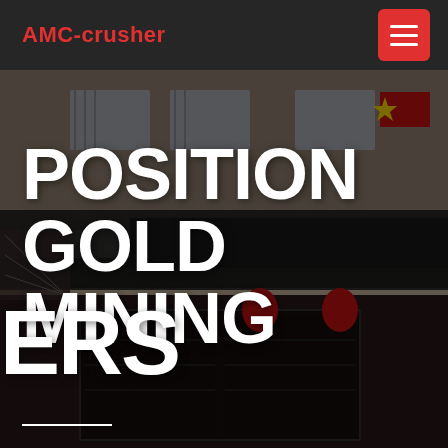AMC-crusher
[Figure (photo): Exterior facade of CMCC Meilan Industrial Group building with Chinese signage, red lanterns, barbed wire fence, and Chinese flag visible. Dark moody photograph.]
POSITION GOLD MINING
ERS